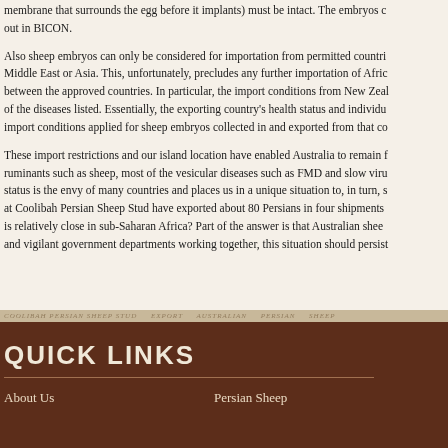membrane that surrounds the egg before it implants) must be intact. The embryos carried out in BICON.
Also sheep embryos can only be considered for importation from permitted countries — not the Middle East or Asia. This, unfortunately, precludes any further importation of African... between the approved countries. In particular, the import conditions from New Zealand... of the diseases listed. Essentially, the exporting country's health status and individual... import conditions applied for sheep embryos collected in and exported from that country.
These import restrictions and our island location have enabled Australia to remain free of ruminants such as sheep, most of the vesicular diseases such as FMD and slow virus... status is the envy of many countries and places us in a unique situation to, in turn, supply... at Coolibah Persian Sheep Stud have exported about 80 Persians in four shipments... is relatively close in sub-Saharan Africa? Part of the answer is that Australian sheep... and vigilant government departments working together, this situation should persist...
QUICK LINKS
About Us
Persian Sheep